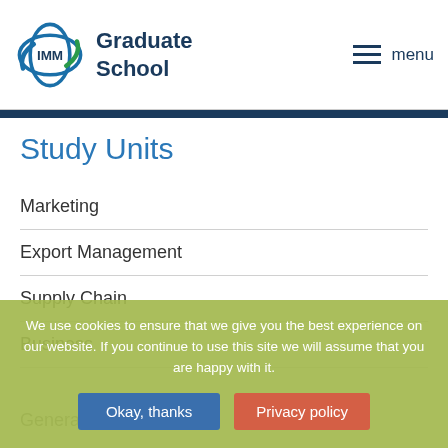IMM Graduate School — menu
Study Units
Marketing
Export Management
Supply Chain
Business
General
We use cookies to ensure that we give you the best experience on our website. If you continue to use this site we will assume that you are happy with it.
Okay, thanks | Privacy policy